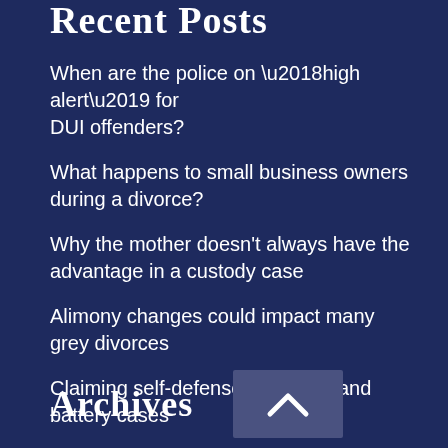Recent Posts
When are the police on ‘high alert’ for DUI offenders?
What happens to small business owners during a divorce?
Why the mother doesn’t always have the advantage in a custody case
Alimony changes could impact many grey divorces
Claiming self-defense in assault and battery cases
Archives